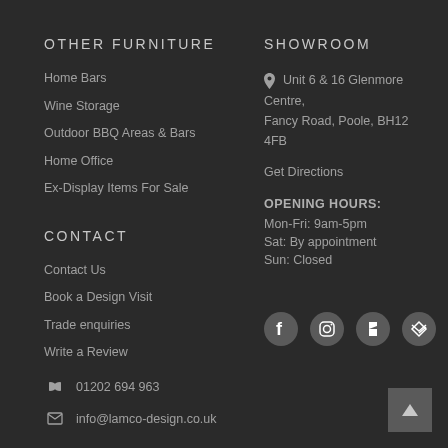OTHER FURNITURE
Home Bars
Wine Storage
Outdoor BBQ Areas & Bars
Home Office
Ex-Display Items For Sale
CONTACT
Contact Us
Book a Design Visit
Trade enquiries
Write a Review
01202 694 963
info@lamco-design.co.uk
SHOWROOM
Unit 6 & 16 Glenmore Centre, Fancy Road, Poole, BH12 4FB
Get Directions
OPENING HOURS: Mon-Fri: 9am-5pm Sat: By appointment Sun: Closed
[Figure (other): Social media icons: Facebook, Instagram, Houzz, email/Houzz]